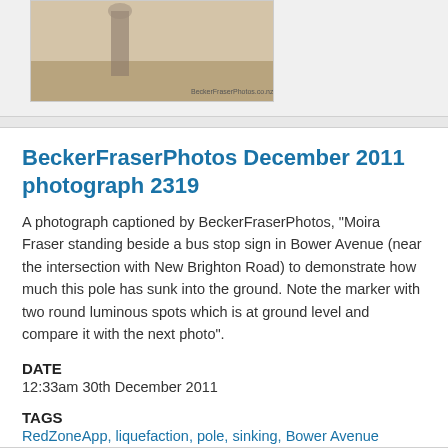[Figure (photo): Photograph of a person standing beside a bus stop sign in sandy/flooded ground. Watermark reads BeckerFraserPhotos.co.nz]
BeckerFraserPhotos December 2011 photograph 2319
A photograph captioned by BeckerFraserPhotos, "Moira Fraser standing beside a bus stop sign in Bower Avenue (near the intersection with New Brighton Road) to demonstrate how much this pole has sunk into the ground. Note the marker with two round luminous spots which is at ground level and compare it with the next photo".
DATE
12:33am 30th December 2011
TAGS
RedZoneApp, liquefaction, pole, sinking, Bower Avenue